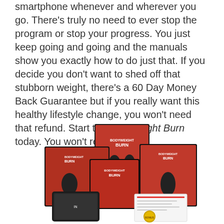smartphone whenever and wherever you go. There's truly no need to ever stop the program or stop your progress. You just keep going and going and the manuals show you exactly how to do just that. If you decide you don't want to shed off that stubborn weight, there's a 60 Day Money Back Guarantee but if you really want this healthy lifestyle change, you won't need that refund. Start the Bodyweight Burn today. You won't regret it.
[Figure (photo): Product shot of Bodyweight Burn program showing multiple book/manual covers with red and black design featuring people exercising, along with a tablet/phone device and paperwork.]